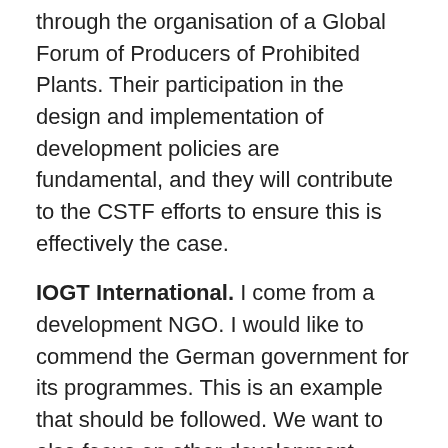through the organisation of a Global Forum of Producers of Prohibited Plants. Their participation in the design and implementation of development policies are fundamental, and they will contribute to the CSTF efforts to ensure this is effectively the case.
IOGT International. I come from a development NGO. I would like to commend the German government for its programmes. This is an example that should be followed. We want to also focus on other development issues – that of harm reduction and health services in the global south. The South African government mentioned the penury in health and prevention programmes. We reiterate that treatment and harm reduction